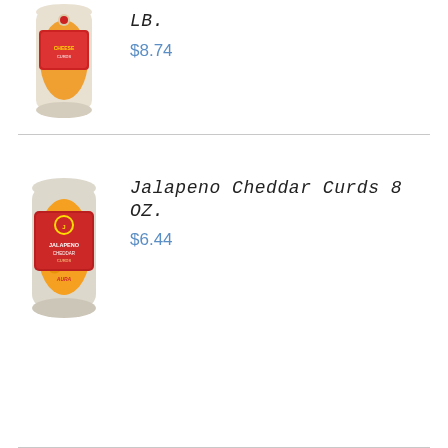[Figure (photo): Bag of orange cheese curds product, first item (partially visible at top)]
LB.
$8.74
[Figure (photo): Bag of Jalapeno Cheddar Curds 8 OZ product with red label]
Jalapeno Cheddar Curds 8 OZ.
$6.44